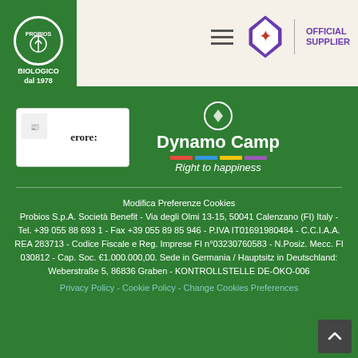[Figure (logo): Probios Biologico dal 1978 logo on green background]
[Figure (logo): Header with hamburger menu, Fiorentina diamond logo and OFFICIAL SUPPLIER text]
[Figure (logo): Il Sole 24 Ore partner logo and Dynamo Camp Right to happiness logo on green background]
Modifica Preferenze Cookies
Probios S.p.A. Società Benefit - Via degli Olmi 13-15, 50041 Calenzano (FI) Italy - Tel. +39 055 88 693 1 - Fax +39 055 89 85 946 - P.IVA IT01691980484 - C.C.I.A.A. REA 283713 - Codice Fiscale e Reg. Imprese FI n°03230760583 - N.Posiz. Mecc. FI 030812 - Cap. Soc. €1.000.000,00. Sede in Germania / Hauptsitz in Deutschland: Weberstraße 5, 86836 Graben - KONTROLLSTELLE DE-ÖKO-006
Privacy Policy - Cookie Policy - Change Cookies Preferences